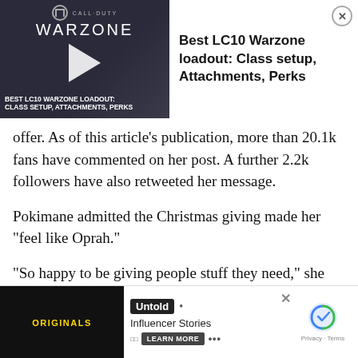[Figure (screenshot): Video ad banner for 'Best LC10 Warzone loadout: Class setup, Attachments, Perks' showing Call of Duty Warzone branding with a play button thumbnail on the left and ad title text on the right, with a close button.]
offer. As of this article's publication, more than 20.1k fans have commented on her post. A further 2.2k followers have also retweeted her message.
Pokimane admitted the Christmas giving made her “feel like Oprah.”
“So happy to be giving people stuff they need,” she wrote on her second Twitter account. “Take all my money, you kind souls… you’ll get a couch for your move! You get a notebook for school!! You get a [gift] for yo[ur…]
[Figure (screenshot): Bottom advertisement banner: left side shows Originals logo on dark background, middle shows 'Untold · Influencer Stories' with a LEARN MORE button, right side shows reCAPTCHA icon with Privacy - Terms text.]